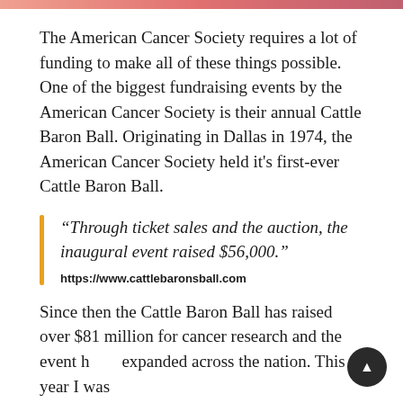The American Cancer Society requires a lot of funding to make all of these things possible. One of the biggest fundraising events by the American Cancer Society is their annual Cattle Baron Ball. Originating in Dallas in 1974, the American Cancer Society held it's first-ever Cattle Baron Ball.
“Through ticket sales and the auction, the inaugural event raised $56,000.”
https://www.cattlebaronsball.com
Since then the Cattle Baron Ball has raised over $81 million for cancer research and the event has expanded across the nation. This year I was